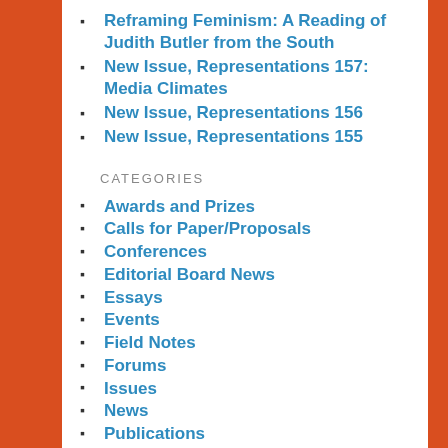Reframing Feminism: A Reading of Judith Butler from the South
New Issue, Representations 157: Media Climates
New Issue, Representations 156
New Issue, Representations 155
CATEGORIES
Awards and Prizes
Calls for Paper/Proposals
Conferences
Editorial Board News
Essays
Events
Field Notes
Forums
Issues
News
Publications
Representations Authors
Responses & Comments
Translations